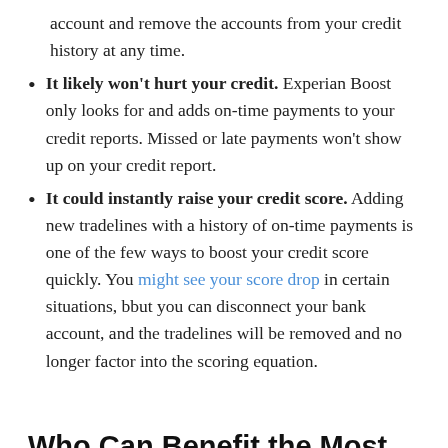account and remove the accounts from your credit history at any time.
It likely won't hurt your credit. Experian Boost only looks for and adds on-time payments to your credit reports. Missed or late payments won't show up on your credit report.
It could instantly raise your credit score. Adding new tradelines with a history of on-time payments is one of the few ways to boost your credit score quickly. You might see your score drop in certain situations, bbut you can disconnect your bank account, and the tradelines will be removed and no longer factor into the scoring equation.
Who Can Benefit the Most From Experian Boost?